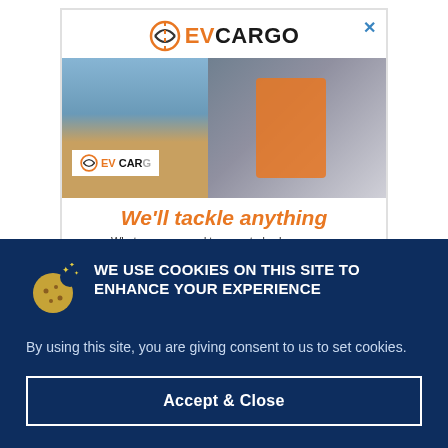[Figure (screenshot): EV Cargo advertisement modal with logo, photo of delivery worker in orange hi-vis vest beside EV Cargo truck, orange italic tagline 'We'll tackle anything', and subtext 'Whatever you need transported, wherever you']
WE USE COOKIES ON THIS SITE TO ENHANCE YOUR EXPERIENCE
By using this site, you are giving consent to us to set cookies.
Accept & Close